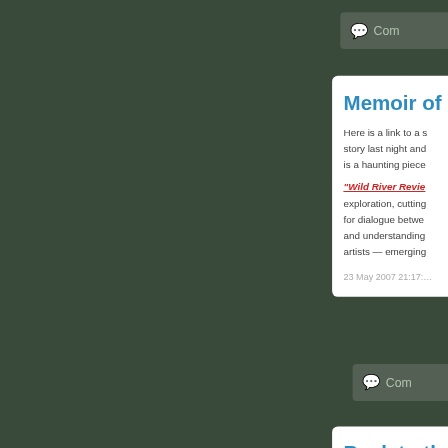Com
Memoir of
Here is a link to a s… story last night and… is a haunting piece…
"Wild River Revie… exploration, cutting… for dialogue betwe… and understanding… artists — emerging…
23 May 2007 21:17:…
Com
Back to th…